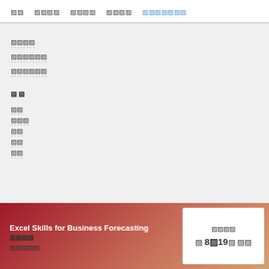홈   나의학습   강의목록   수강신청   커뮤니티
수강후기
수강후기작성
수강후기목록
목 차
개요
학습목표
학습내용
평가
참고
Excel Skills for Business Forecasting 수강신청 안내
수강기간
월 8일~19일 수강